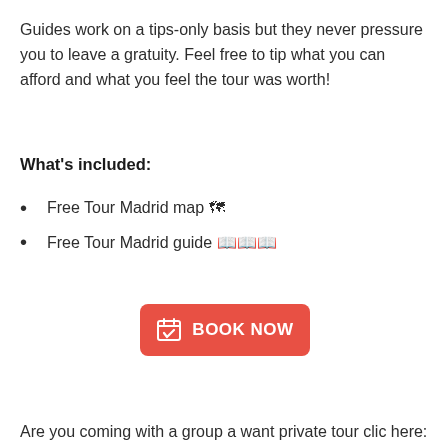Guides work on a tips-only basis but they never pressure you to leave a gratuity. Feel free to tip what you can afford and what you feel the tour was worth!
What's included:
Free Tour Madrid map 🗺
Free Tour Madrid guide 📖📖📖
[Figure (other): Red 'BOOK NOW' button with a calendar-check icon]
Are you coming with a group a want private tour clic here: